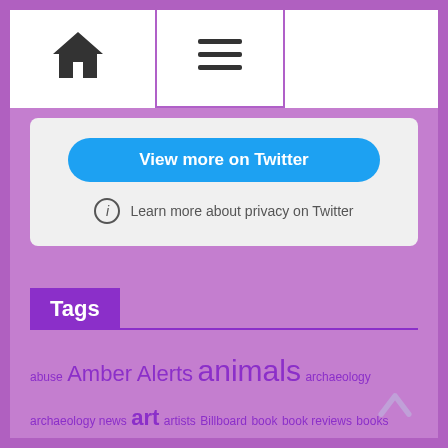Navigation bar with home icon and menu icon
[Figure (screenshot): Twitter embedded widget box showing 'View more on Twitter' button and 'Learn more about privacy on Twitter' link]
Tags
abuse Amber Alerts animals archaeology archaeology news art artists Billboard book book reviews books cams celebrities cookbooks COVID Covid 19 Cults Cults News entertainment Florida Hypermobile Ehlers Danlos Syndrome kidnapped live cams missing Missing Children movie reviews movies Music nature nature cams New music releases news penguins poetry poets